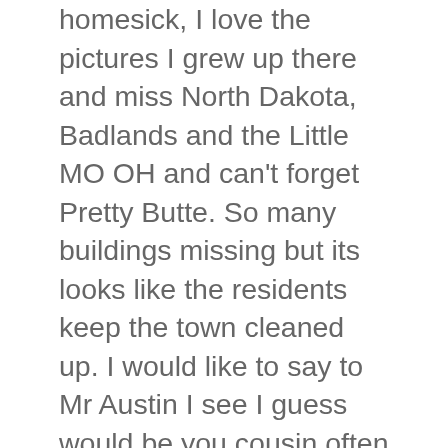Wow makes me homesick, I love the pictures I grew up there and miss North Dakota, Badlands and the Little MO OH and can't forget Pretty Butte. So many buildings missing but its looks like the residents keep the town cleaned up. I would like to say to Mr Austin I see I guess would be you cousin often at Walmart (Preston) always have a nice chat about back home in Marmarth. Hope by some miracle I can come back for a visit one day. Seems to me the minute you drive in from another